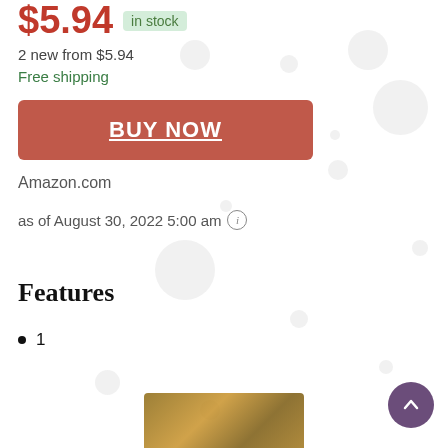$5.94 in stock
2 new from $5.94
Free shipping
BUY NOW
Amazon.com
as of August 30, 2022 5:00 am
Features
1
[Figure (photo): Product image at bottom of page, partially visible, appears to be a food/snack product]